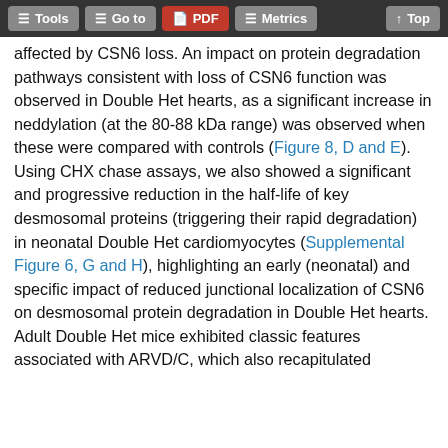Tools | Go to | PDF | Metrics | Top
affected by CSN6 loss. An impact on protein degradation pathways consistent with loss of CSN6 function was observed in Double Het hearts, as a significant increase in neddylation (at the 80-88 kDa range) was observed when these were compared with controls (Figure 8, D and E). Using CHX chase assays, we also showed a significant and progressive reduction in the half-life of key desmosomal proteins (triggering their rapid degradation) in neonatal Double Het cardiomyocytes (Supplemental Figure 6, G and H), highlighting an early (neonatal) and specific impact of reduced junctional localization of CSN6 on desmosomal protein degradation in Double Het hearts. Adult Double Het mice exhibited classic features associated with ARVD/C, which also recapitulated disease features described by Saffitz in a mouse